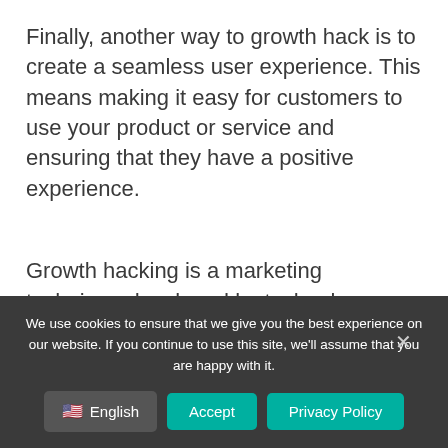Finally, another way to growth hack is to create a seamless user experience. This means making it easy for customers to use your product or service and ensuring that they have a positive experience.
Growth hacking is a marketing technique developed by technology startups which uses creativity, analytical thinking, and social metrics to sell products and gain
We use cookies to ensure that we give you the best experience on our website. If you continue to use this site, we'll assume that you are happy with it.